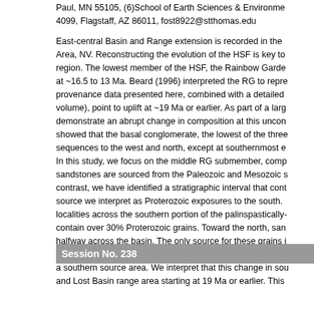Paul, MN 55105, (6)School of Earth Sciences & Environment al Studies, NAU Box 4099, Flagstaff, AZ 86011, fost8922@stthomas.edu
East-central Basin and Range extension is recorded in the Hualapai Sandstone Formation Area, NV. Reconstructing the evolution of the HSF is key to understanding the geologic history of this region. The lowest member of the HSF, the Rainbow Garden Member (RG), has been dated at ~16.5 to 13 Ma. Beard (1996) interpreted the RG to represent an initial pulse of extension. New provenance data presented here, combined with a detailed stratigraphic study (Lamb and Beard, this volume), point to uplift at ~19 Ma or earlier. As part of a larger provenance study, we demonstrate an abrupt change in composition at this unconformity. Lamb and Beard (this volume) showed that the basal conglomerate, the lowest of the three RG submembers, is found in similar sequences to the west and north, except at southernmost exposures of the formation. In this study, we focus on the middle RG submember, comprised of sandstone. Most sandstones are sourced from the Paleozoic and Mesozoic strata of the surrounding region. In contrast, we have identified a stratigraphic interval that contains Proterozoic grains, from a source we interpret as Proterozoic exposures to the south. Proterozoic grains are found in localities across the southern portion of the palinspastically-restored basin. These localities contain over 30% Proterozoic grains. Toward the north, sandstones contain few Proterozoic grains halfway across the basin. The only source for these grains is to the south. Grain size fines northward from pebble to medium sand and the stratigraphic architecture is consistent with a southern source area. We interpret that this change in source reflects uplift in the Hualpai Mountains and Lost Basin range area starting at 19 Ma or earlier. This
Session No. 238